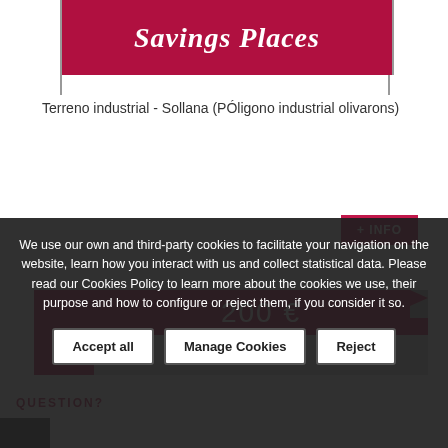[Figure (logo): Real estate company logo with white italic text on dark red/crimson background, with vertical border lines on sides]
Terreno industrial - Sollana (PÓligono industrial olivarons)
+ INFO
200 €
QUESTION?
We use our own and third-party cookies to facilitate your navigation on the website, learn how you interact with us and collect statistical data. Please read our Cookies Policy to learn more about the cookies we use, their purpose and how to configure or reject them, if you consider it so.
Accept all
Manage Cookies
Reject